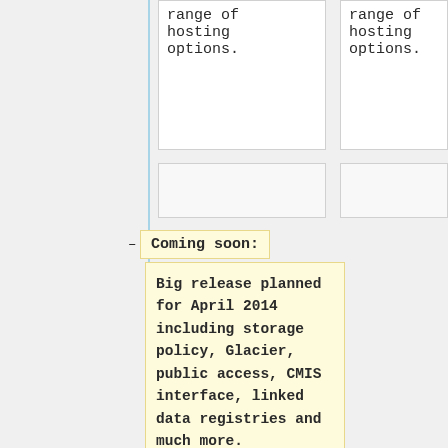range of hosting options.
range of hosting options.
Coming soon:
Big release planned for April 2014 including storage policy, Glacier, public access, CMIS interface, linked data registries and much more.